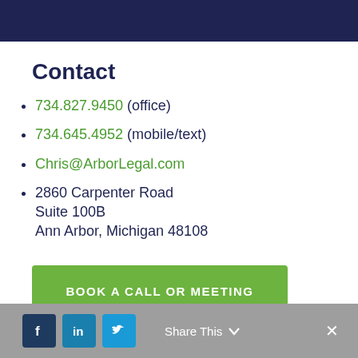Contact
734.827.9450 (office)
734.645.4952 (mobile/text)
Chris@ArborLegal.com
2860 Carpenter Road
Suite 100B
Ann Arbor, Michigan 48108
BOOK A CALL OR MEETING
Share This